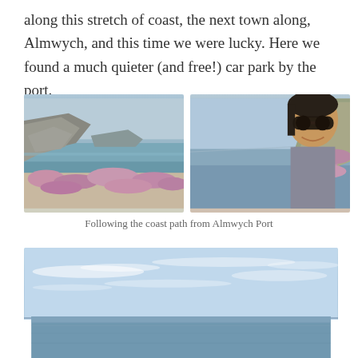along this stretch of coast, the next town along, Almwych, and this time we were lucky. Here we found a much quieter (and free!) car park by the port.
[Figure (photo): Left: coastal rocky landscape with heather foreground and calm sea inlet. Right: selfie of a woman wearing sunglasses on a coastal cliff path with heather and sea in background.]
Following the coast path from Almwych Port
[Figure (photo): Wide panoramic view of calm blue sea under a light blue sky with wispy clouds, taken from an elevated coastal position.]